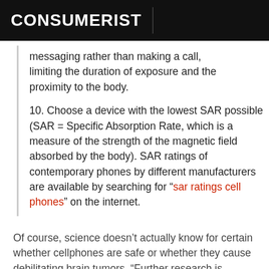CONSUMERIST
messaging rather than making a call, limiting the duration of exposure and the proximity to the body.
10. Choose a device with the lowest SAR possible (SAR = Specific Absorption Rate, which is a measure of the strength of the magnetic field absorbed by the body). SAR ratings of contemporary phones by different manufacturers are available by searching for “sar ratings cell phones” on the internet.
Of course, science doesn’t actually know for certain whether cellphones are safe or whether they cause debilitating brain tumors. “Further research is needed” is a